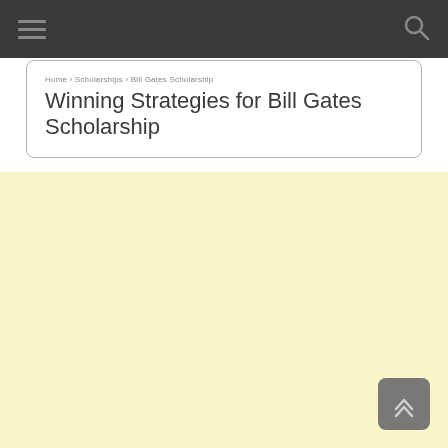Winning Strategies for Bill Gates Scholarship
[Figure (screenshot): Light yellow blank content area below the search/title bar, representing main page body content area.]